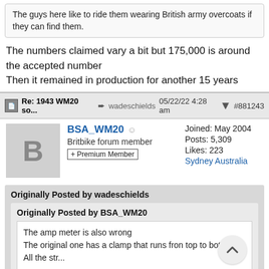The guys here like to ride them wearing British army overcoats if they can find them.
The numbers claimed vary a bit but 175,000 is around the accepted number
Then it remained in production for another 15 years
Re: 1943 WM20 so... → wadeschields 05/22/22 4:28 am ↗ #881243
BSA_WM20
Britbike forum member
+Premium Member
Joined: May 2004
Posts: 5,309
Likes: 223
Sydney Australia
Originally Posted by wadeschields
Originally Posted by BSA_WM20
The amp meter is also wrong
The original one has a clamp that runs fron top to bottom